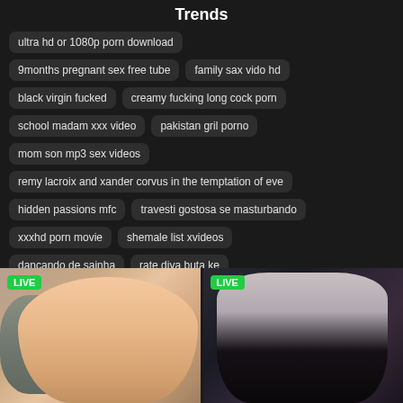Trends
ultra hd or 1080p porn download
9months pregnant sex free tube
family sax vido hd
black virgin fucked
creamy fucking long cock porn
school madam xxx video
pakistan gril porno
mom son mp3 sex videos
remy lacroix and xander corvus in the temptation of eve
hidden passions mfc
travesti gostosa se masturbando
xxxhd porn movie
shemale list xvideos
dançando de sainha
rate diya buta ke
[Figure (photo): Two LIVE thumbnail images of adult content live streams side by side]
LIVE | LIVE